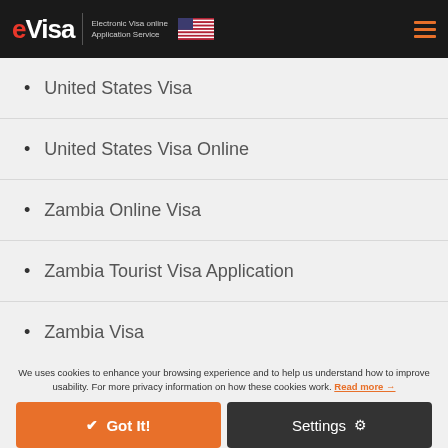eVisa Electronic Visa online Application Service
United States Visa
United States Visa Online
Zambia Online Visa
Zambia Tourist Visa Application
Zambia Visa
Zambia Visa Online
We uses cookies to enhance your browsing experience and to help us understand how to improve usability. For more privacy information on how these cookies work. Read more →
Got It! Settings